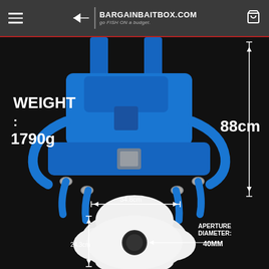BargainBaitBox.com — go FISH ON a budget.
[Figure (photo): Product photo of a blue fishing harness/gimbal belt with white rod holder plate against black background. Dimensions annotated: Weight: 1790g, height 88cm, width 34.8cm, depth 24.3cm, aperture diameter 40MM.]